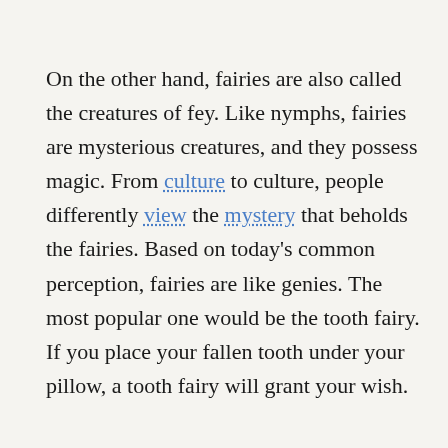On the other hand, fairies are also called the creatures of fey. Like nymphs, fairies are mysterious creatures, and they possess magic. From culture to culture, people differently view the mystery that beholds the fairies. Based on today's common perception, fairies are like genies. The most popular one would be the tooth fairy. If you place your fallen tooth under your pillow, a tooth fairy will grant your wish.